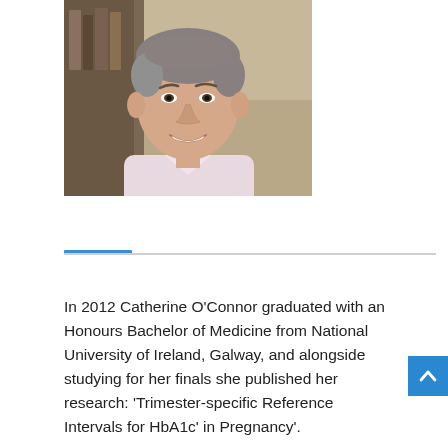[Figure (photo): Headshot photo of a middle-aged man with short grey hair, smiling, wearing a light pink shirt, against a blurred indoor background.]
In 2012 Catherine O'Connor graduated with an Honours Bachelor of Medicine from National University of Ireland, Galway, and alongside studying for her finals she published her research: ‘Trimester-specific Reference Intervals for HbA1c’ in Pregnancy’.